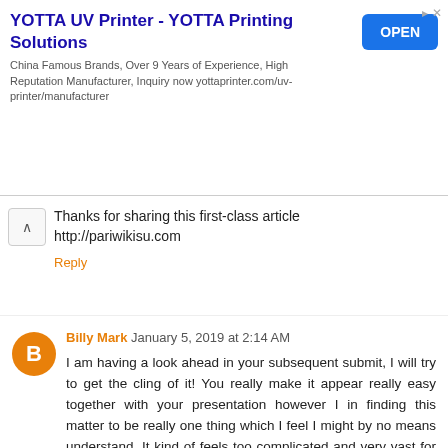[Figure (other): Advertisement banner for YOTTA UV Printer - YOTTA Printing Solutions. Text: China Famous Brands, Over 9 Years of Experience, High Reputation Manufacturer, Inquiry now yottaprinter.com/uv-printer/manufacturer. Blue OPEN button on right.]
Thanks for sharing this first-class article http://pariwikisu.com
Reply
Billy Mark  January 5, 2019 at 2:14 AM
I am having a look ahead in your subsequent submit, I will try to get the cling of it! You really make it appear really easy together with your presentation however I in finding this matter to be really one thing which I feel I might by no means understand. It kind of feels too complicated and very vast for me. mcafee.com/activate |office.com/setup | office.com/setup | office.com/setup
Reply